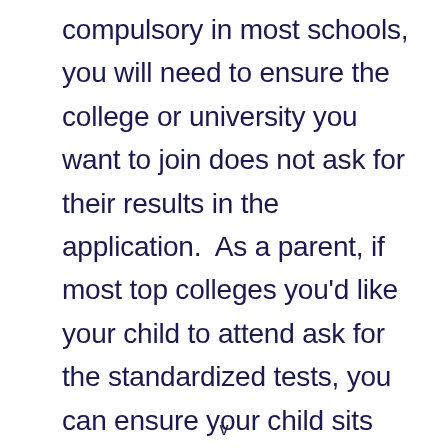compulsory in most schools, you will need to ensure the college or university you want to join does not ask for their results in the application.  As a parent, if most top colleges you'd like your child to attend ask for the standardized tests, you can ensure your child sits them to make college application easier.
v